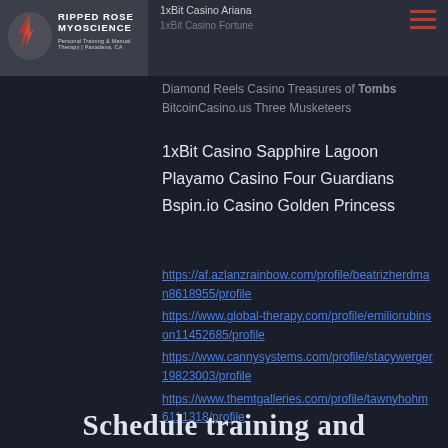RIPPED ROSE MYOSCIENCE | Personal Training & Manual Therapy | Pasadena, CA
1xBit Casino Ariana
1xBit Casino Fortune
Diamond Reels Casino Treasures of Tombs
BitcoinCasino.us Three Musketeers
1xBit Casino Sapphire Lagoon
Playamo Casino Four Guardians
Bspin.io Casino Golden Princess
https://af.azlanzrainbow.com/profile/beatrizherdman8618955/profile
https://www.global-therapy.com/profile/emiliorubinson11452685/profile
https://www.cannysystems.com/profile/stacywerger19823003/profile
https://www.themtgalleries.com/profile/tawnyhohm6111318/profile
Schedule training and